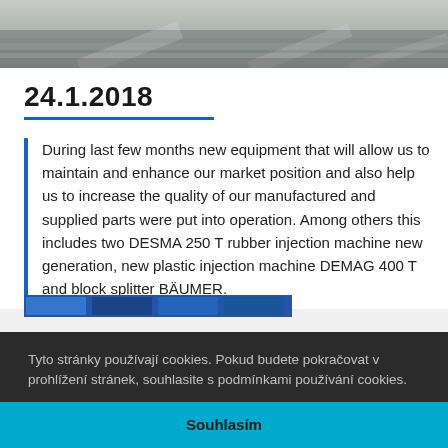[Figure (photo): Top banner photo showing a gray/asphalt surface texture, partial view of road or industrial ground]
24.1.2018
During last few months new equipment that will allow us to maintain and enhance our market position and also help us to increase the quality of our manufactured and supplied parts were put into operation. Among others this includes two DESMA 250 T rubber injection machine new generation, new plastic injection machine DEMAG 400 T and block splitter BÄUMER.
[Figure (photo): Partial blue thumbnail image strip at bottom of article area]
Tyto stránky používají cookies. Pokud budete pokračovat v prohlížení stránek, souhlasite s podmínkami používání cookies.
Souhlasím
[Figure (photo): Bottom partial thumbnail strip showing industrial machinery images]